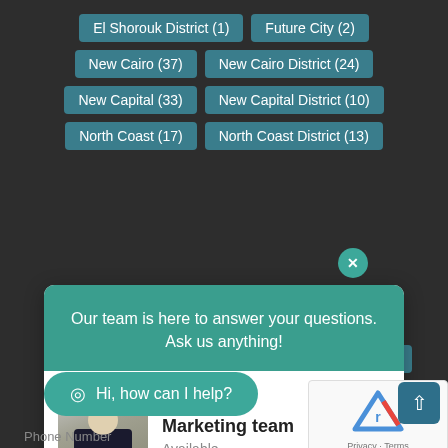El Shorouk District (1)
Future City (2)
New Cairo (37)
New Cairo District (24)
New Capital (33)
New Capital District (10)
North Coast (17)
North Coast District (13)
Road (1)
Our team is here to answer your questions. Ask us anything!
Marketing team
Available
Call Center
Available
Hi, how can I help?
Phone Number
Privacy · Terms